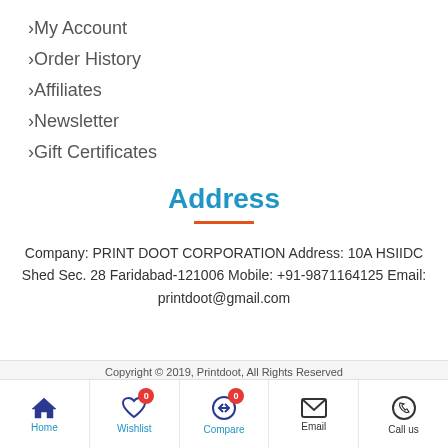> My Account
> Order History
> Affiliates
> Newsletter
> Gift Certificates
Address
Company: PRINT DOOT CORPORATION Address: 10A HSIIDC Shed Sec. 28 Faridabad-121006 Mobile: +91-9871164125 Email: printdoot@gmail.com
Copyright © 2019, Printdoot, All Rights Reserved
[Figure (other): Payment method icons: VISA, Mastercard, American Express, Discover, PayPal, Stripe]
[Figure (other): Bottom navigation bar with Home, Wishlist (badge 0), Compare (badge 0), Email, Call us icons]